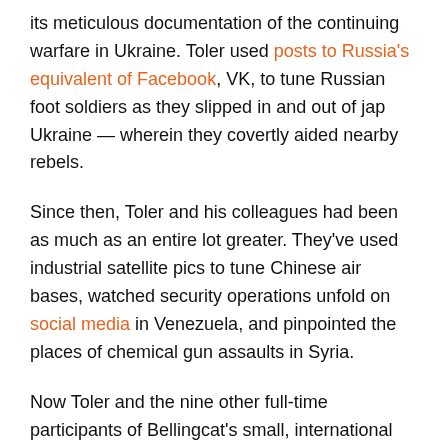its meticulous documentation of the continuing warfare in Ukraine. Toler used posts to Russia's equivalent of Facebook, VK, to tune Russian foot soldiers as they slipped in and out of jap Ukraine — wherein they covertly aided nearby rebels.
Since then, Toler and his colleagues had been as much as an entire lot greater. They've used industrial satellite pics to tune Chinese air bases, watched security operations unfold on social media in Venezuela, and pinpointed the places of chemical gun assaults in Syria.
Now Toler and the nine other full-time participants of Bellingcat's small, international team of workers are increasingly more being drawn into some of the biggest news memories in the international. This week they unmasked one in all two Russian dealers believed to be at the back of a spate of poisonings inside the U.K. (they uncovered the opposite one last month). And they're taking part